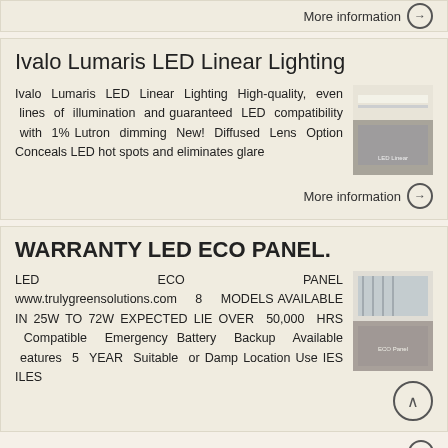More information →
Ivalo Lumaris LED Linear Lighting
Ivalo Lumaris LED Linear Lighting High-quality, even lines of illumination and guaranteed LED compatibility with 1% Lutron dimming New! Diffused Lens Option Conceals LED hot spots and eliminates glare
[Figure (photo): Product photo of Ivalo Lumaris LED Linear Lighting fixture]
More information →
WARRANTY LED ECO PANEL.
LED ECO PANEL www.trulygreensolutions.com 8 MODELS AVAILABLE IN 25W TO 72W EXPECTED LIE OVER 50,000 HRS Compatible Emergency Battery Backup Available eatures 5 YEAR Suitable or Damp Location Use IES ILES
[Figure (photo): Product photo of LED ECO Panel installed in a room]
More information →